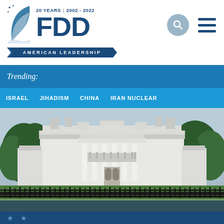[Figure (logo): FDD (Foundation for Defense of Democracies) logo with leaf emblem, '20 YEARS | 2002-2022' text, large FDD letters, and 'AMERICAN LEADERSHIP' banner ribbon]
Trending:
ISRAEL
JIHADISM
CHINA
IRAN NUCLEAR
[Figure (photo): Photograph of the White House South Portico with green trees on either side, iron fence in foreground, blue sky background]
[Figure (other): Dark navy blue bottom bar with decorative star elements]